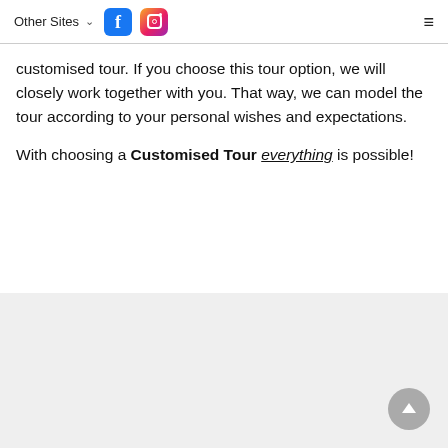Other Sites  [Facebook icon] [Instagram icon]  [hamburger menu]
customised tour. If you choose this tour option, we will closely work together with you. That way, we can model the tour according to your personal wishes and expectations.
With choosing a Customised Tour everything is possible!